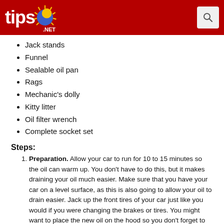tips .NET
Jack stands
Funnel
Sealable oil pan
Rags
Mechanic's dolly
Kitty litter
Oil filter wrench
Complete socket set
Steps:
Preparation. Allow your car to run for 10 to 15 minutes so the oil can warm up. You don't have to do this, but it makes draining your oil much easier. Make sure that you have your car on a level surface, as this is also going to allow your oil to drain easier. Jack up the front tires of your car just like you would if you were changing the brakes or tires. You might want to place the new oil on the hood so you don't forget to refill the oil when you are all done.